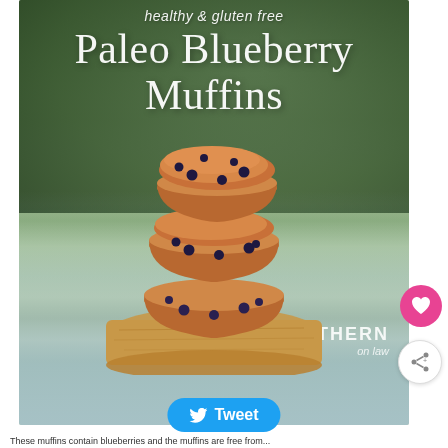[Figure (photo): A stack of three paleo blueberry muffins on a wooden cutting board, set against a blurred green outdoor background. Text overlay reads 'healthy & gluten free' in italic script and 'Paleo Blueberry Muffins' in large serif white font. Watermark 'SOUTHERN on law' in bottom-right corner.]
[Figure (other): Pink circular heart/favorite button icon on the right side]
[Figure (other): White circular share button with share icon on the right side]
Tweet
These muffins contain blueberries and the muffins are free from...